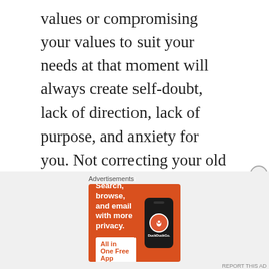values or compromising your values to suit your needs at that moment will always create self-doubt, lack of direction, lack of purpose, and anxiety for you. Not correcting your old beliefs that don't serve you will have you chasing your own tail and repeating the same old behavior and ultimately, lead to self-sabotage. So, I would say this is the most valuable lesson I can pass on and teach with my passion to
[Figure (infographic): DuckDuckGo advertisement banner with orange background. Text: 'Search, browse, and email with more privacy. All in One Free App'. Shows a phone mockup with DuckDuckGo logo.]